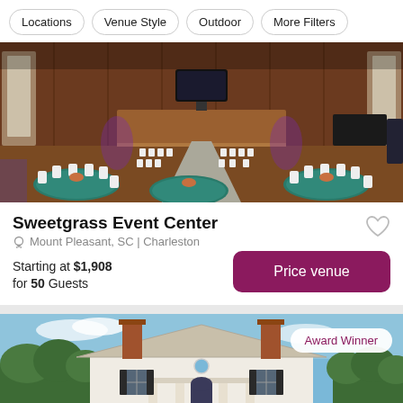Locations | Venue Style | Outdoor | More Filters
[Figure (photo): Interior of Sweetgrass Event Center showing teal-draped round tables, white chairs, a raised stage with TV screen, and purple uplighting]
Sweetgrass Event Center
Mount Pleasant, SC | Charleston
Starting at $1,908 for 50 Guests
Price venue
[Figure (photo): Exterior of a white colonial-style venue with columns, brick chimneys, and trees under a blue sky. Award Winner badge visible.]